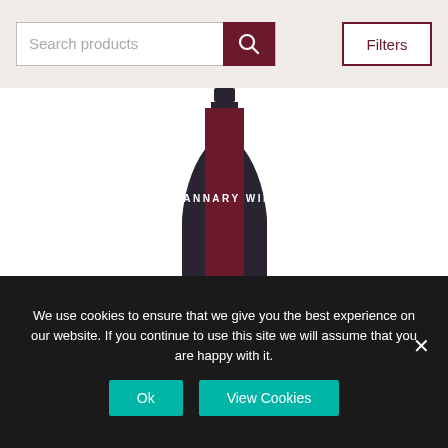[Figure (screenshot): Search bar with placeholder text 'Search products', a dark red search button with magnifying glass icon, and a 'Filters' button on the right.]
[Figure (illustration): Wine bottle with a dark navy/black body and a dark burgundy/maroon label reading 'STANNARY WINE' in vertical white text. The bottle has a dark cap at the top.]
We use cookies to ensure that we give you the best experience on our website. If you continue to use this site we will assume that you are happy with it.
Ok
View Cookies